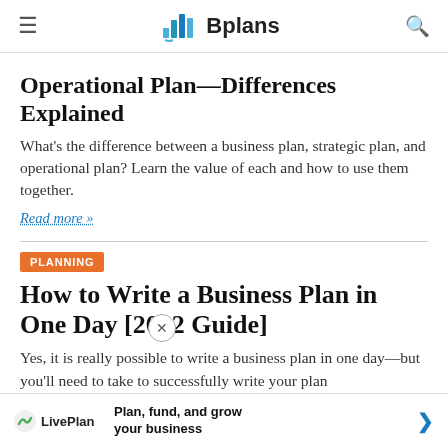Bplans
Operational Plan—Differences Explained
What's the difference between a business plan, strategic plan, and operational plan? Learn the value of each and how to use them together.
Read more »
PLANNING
How to Write a Business Plan in One Day [2022 Guide]
Yes, it is really possible to write a business plan in one day—but you'll need to take to successfully write your plan